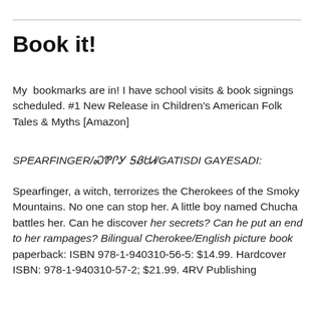Book it!
My  bookmarks are in! I have school visits & book signings scheduled. #1 New Release in Children's American Folk Tales & Myths [Amazon]
SPEARFINGER/ᏍᏈᎵᎩ ᎦᏰᏌᏗ/GATISDI GAYESADI:
Spearfinger, a witch, terrorizes the Cherokees of the Smoky Mountains. No one can stop her. A little boy named Chucha battles her. Can he discover her secrets? Can he put an end to her rampages? Bilingual Cherokee/English picture book paperback: ISBN 978-1-940310-56-5: $14.99. Hardcover ISBN: 978-1-940310-57-2; $21.99. 4RV Publishing